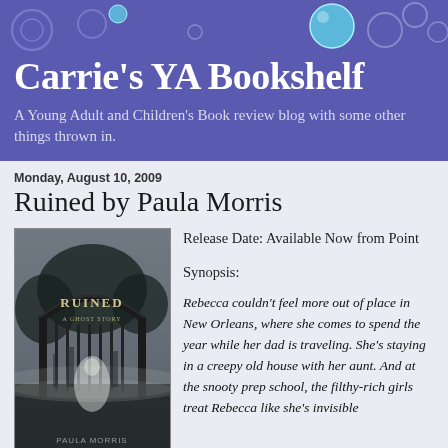Carrie's YA Bookshelf
A Young Adult and Children's Book review blog with some other things thrown in.
Monday, August 10, 2009
Ruined by Paula Morris
[Figure (photo): Book cover of 'Ruined: A Ghost Story' by Paula Morris, showing a gothic iron gate with the word RUINED and a ghostly white figure in a misty cemetery setting]
Release Date: Available Now from Point
Synopsis:
Rebecca couldn't feel more out of place in New Orleans, where she comes to spend the year while her dad is traveling. She's staying in a creepy old house with her aunt. And at the snooty prep school, the filthy-rich girls treat Rebecca like she's invisible